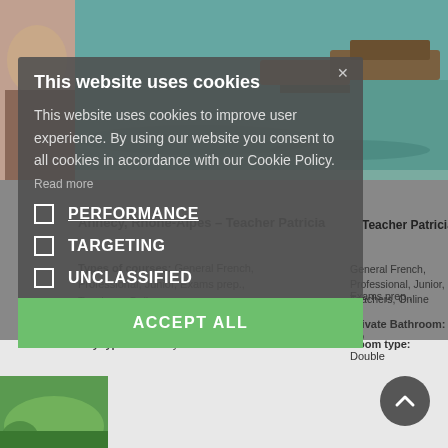[Figure (screenshot): Background photo of boats on a lake with turquoise water, partially visible behind cookie consent overlay]
Annecy, Rhône-Alpes – Teacher Patricia
Types of courses: General French, Professional, Junior, Exams prep., Teachers, Online
Private Bathroom: No
City type: Small city    Room type: Double
This website uses cookies
This website uses cookies to improve user experience. By using our website you consent to all cookies in accordance with our Cookie Policy. Read more
PERFORMANCE
TARGETING
UNCLASSIFIED
ACCEPT ALL